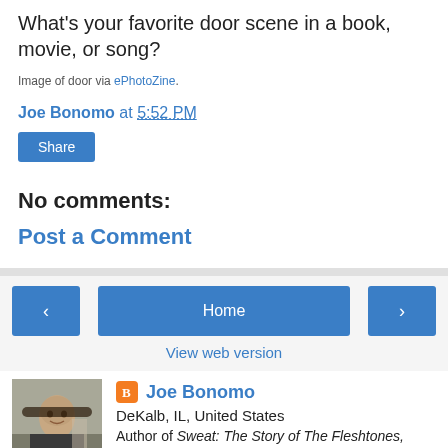What's your favorite door scene in a book, movie, or song?
Image of door via ePhotoZine.
Joe Bonomo at 5:52 PM
Share
No comments:
Post a Comment
Home
View web version
Joe Bonomo
DeKalb, IL, United States
Author of Sweat: The Story of The Fleshtones,